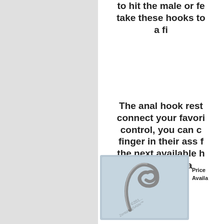to hit the male or fe... take these hooks to... a fi...
The anal hook rest... connect your favori... control, you can ... finger in their ass f... the next available h... self pleasue a...
[Figure (photo): A metal anal hook product on a light blue fabric background with watermark]
Click To Enlarge
Item #: AP-HOOK
Price
Avail...